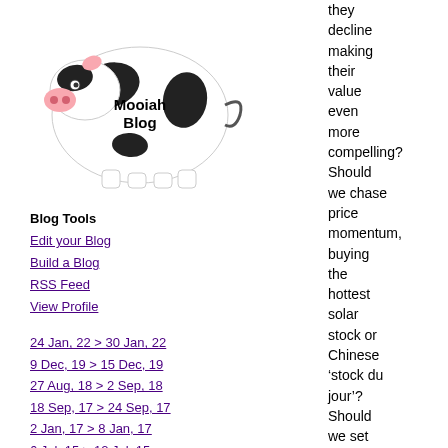[Figure (illustration): Black and white piggy bank with 'Mooiah Blog' text on it]
Blog Tools
Edit your Blog
Build a Blog
RSS Feed
View Profile
24 Jan, 22 > 30 Jan, 22
9 Dec, 19 > 15 Dec, 19
27 Aug, 18 > 2 Sep, 18
18 Sep, 17 > 24 Sep, 17
2 Jan, 17 > 8 Jan, 17
6 Jul, 15 > 12 Jul, 15
5 Jan, 15 > 11 Jan, 15
10 Nov, 14 > 16 Nov, 14
30 Jun, 14 > 6 Jul, 14
12 May, 14 > 18 May, 14
5 May, 14 > 11 May, 14
24 Mar, 14 > 30 Mar, 14
20 Jan, 14 > 26 Jan, 14
6 Jan, 14 > 12 Jan, 14
23 Dec, 13 > 29 Dec, 13
16 Dec, 13 > 22 Dec, 13
they decline making their value even more compelling? Should we chase price momentum, buying the hottest solar stock or Chinese ‘stock du jour’? Should we set our horizons 10 to 15 years ahead and then